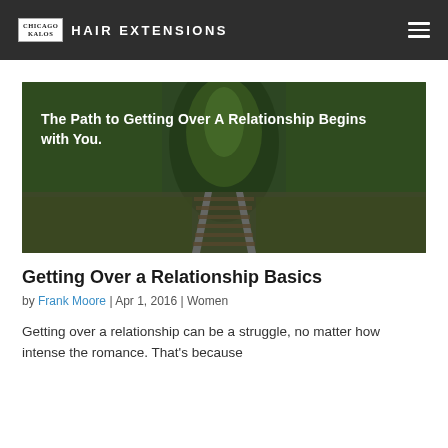CHICAGO KALOS HAIR EXTENSIONS
[Figure (photo): A railroad track disappearing into a lush green tunnel of trees, with text overlay: 'The Path to Getting Over A Relationship Begins with You.']
Getting Over a Relationship Basics
by Frank Moore | Apr 1, 2016 | Women
Getting over a relationship can be a struggle, no matter how intense the romance. That's because